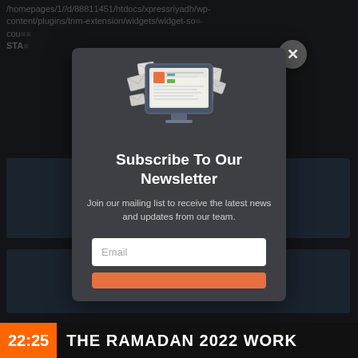/homepages/1//d/88811451/htdocs/xpressriyadh/wp-content/plugins/tnm-extension/widgets/widget-social-count... STA...
[Figure (screenshot): Newsletter subscription modal popup on a dark website background. Modal contains a monitor icon with envelopes, title 'Subscribe To Our Newsletter', description text, email input field, and a partially visible orange subscribe button. Close button (X) in top-right corner. Bottom ticker bar shows '22:25 THE RAMADAN 2022 WORK']
Subscribe To Our Newsletter
Join our mailing list to receive the latest news and updates from our team.
Email
22:25 THE RAMADAN 2022 WORK